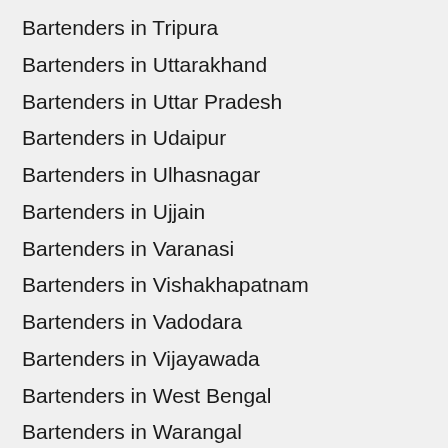Bartenders in Tripura
Bartenders in Uttarakhand
Bartenders in Uttar Pradesh
Bartenders in Udaipur
Bartenders in Ulhasnagar
Bartenders in Ujjain
Bartenders in Varanasi
Bartenders in Vishakhapatnam
Bartenders in Vadodara
Bartenders in Vijayawada
Bartenders in West Bengal
Bartenders in Warangal